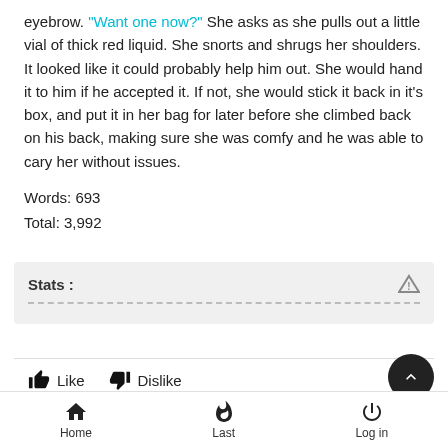eyebrow. "Want one now?" She asks as she pulls out a little vial of thick red liquid. She snorts and shrugs her shoulders. It looked like it could probably help him out. She would hand it to him if he accepted it. If not, she would stick it back in it's box, and put it in her bag for later before she climbed back on his back, making sure she was comfy and he was able to cary her without issues.
Words: 693
Total: 3,992
Stats :
Like   Dislike
1st March 2019, 5:30 pm
Home   Last   Log in